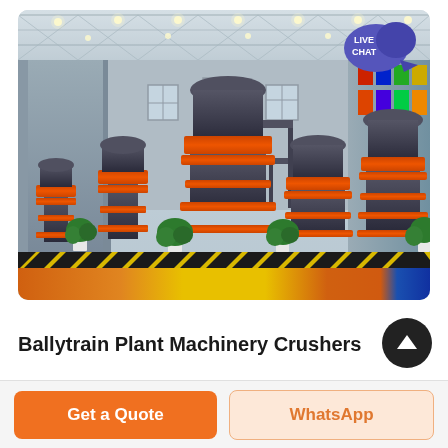[Figure (photo): Interior of a large industrial factory/showroom with high steel-truss ceiling and bright lighting. Multiple large cone crusher machines (dark gray with orange/red rings) of varying sizes are displayed on the factory floor. The floor has yellow and black hazard stripes along the front edge, with an orange/red base and blue accent. Potted green plants are placed between the machines. A 'LIVE CHAT' button bubble appears in the upper right corner of the photo.]
Ballytrain Plant Machinery Crushers
Get a Quote
WhatsApp